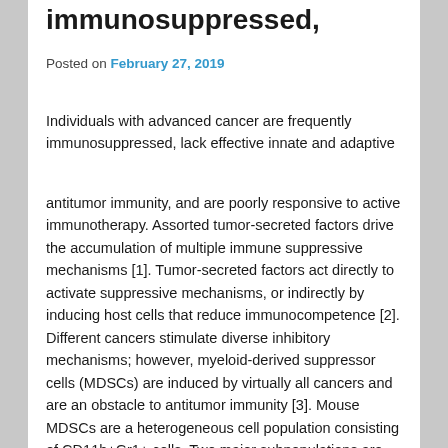immunosuppressed,
Posted on February 27, 2019
Individuals with advanced cancer are frequently immunosuppressed, lack effective innate and adaptive
antitumor immunity, and are poorly responsive to active immunotherapy. Assorted tumor-secreted factors drive the accumulation of multiple immune suppressive mechanisms [1]. Tumor-secreted factors act directly to activate suppressive mechanisms, or indirectly by inducing host cells that reduce immunocompetence [2]. Different cancers stimulate diverse inhibitory mechanisms; however, myeloid-derived suppressor cells (MDSCs) are induced by virtually all cancers and are an obstacle to antitumor immunity [3]. Mouse MDSCs are a heterogeneous cell population consisting of CD11b+Gr1+ cells. Two major subpopulations are defined based on the differential expression of Ly6C and Ly6G, the components of Gr1. Monocytic MDSCs (MO-MDSCs) BAY 73-4506 ic50 are mononuclear and CD11b+Ly6G−Ly6Chi, while